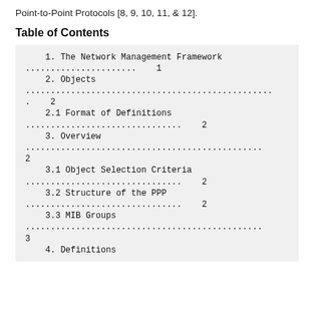Point-to-Point Protocols [8, 9, 10, 11, & 12].
Table of Contents
1. The Network Management Framework .......................... 1
2. Objects ..................................................... 2
2.1 Format of Definitions ............................ 2
3. Overview .................................................... 2
3.1 Object Selection Criteria ........................ 2
3.2 Structure of the PPP ............................. 2
3.3 MIB Groups ................................................ 3
4. Definitions